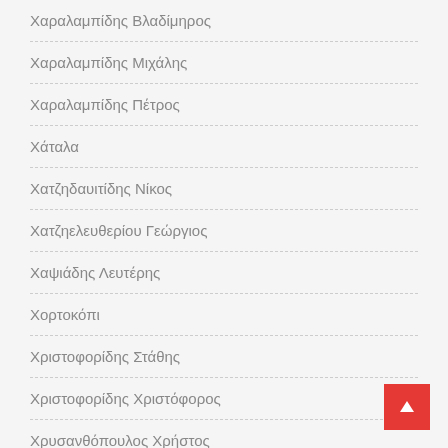Χαραλαμπίδης Βλαδίμηρος
Χαραλαμπίδης Μιχάλης
Χαραλαμπίδης Πέτρος
Χάταλα
Χατζηδαυιτίδης Νίκος
Χατζηελευθερίου Γεώργιος
Χαψιάδης Λευτέρης
Χορτοκόπι
Χριστοφορίδης Στάθης
Χριστοφορίδης Χριστόφορος
Χρυσανθόπουλος Χρήστος
Χρύσανθος